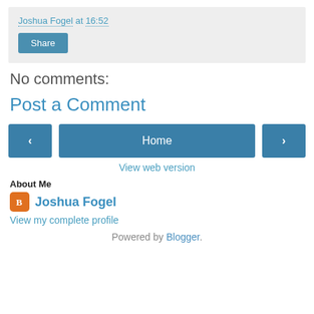Joshua Fogel at 16:52
Share
No comments:
Post a Comment
‹
Home
›
View web version
About Me
Joshua Fogel
View my complete profile
Powered by Blogger.